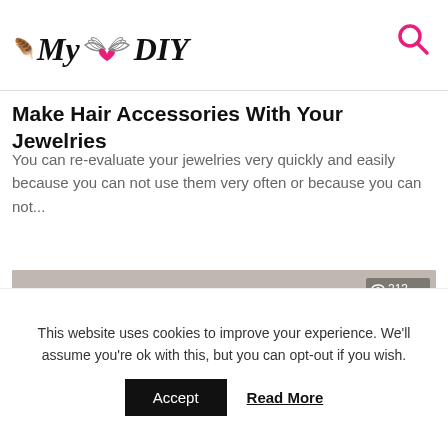My ❤ DIY
Make Hair Accessories With Your Jewelries
You can re-evaluate your jewelries very quickly and easily because you can not use them very often or because you can not...
[Figure (photo): A person holding a wooden stick with colorful yarn pom-poms hanging from it, viewed count 213.]
This website uses cookies to improve your experience. We'll assume you're ok with this, but you can opt-out if you wish.